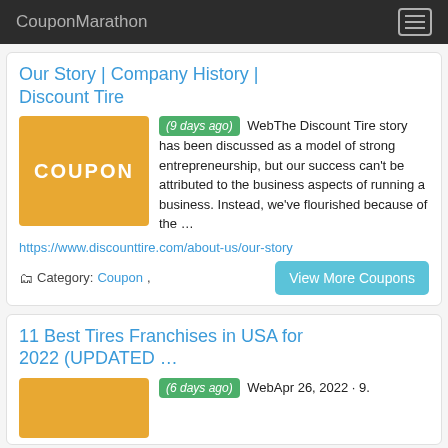CouponMarathon
Our Story | Company History | Discount Tire
[Figure (other): Orange coupon placeholder box with text COUPON]
(9 days ago) WebThe Discount Tire story has been discussed as a model of strong entrepreneurship, but our success can't be attributed to the business aspects of running a business. Instead, we've flourished because of the …
https://www.discounttire.com/about-us/our-story
Category: Coupon,
View More Coupons
11 Best Tires Franchises in USA for 2022 (UPDATED …
[Figure (other): Orange coupon placeholder box, partially visible]
(6 days ago) WebApr 26, 2022 · 9.